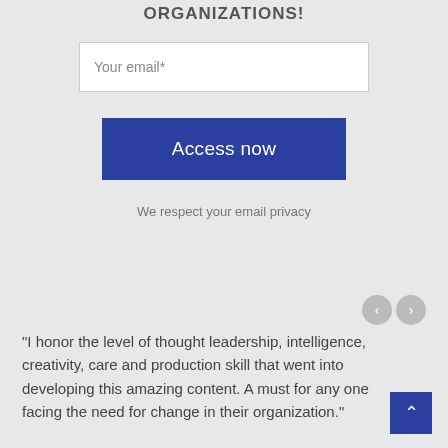ORGANIZATIONS!
Your email*
Access now
We respect your email privacy
"I honor the level of thought leadership, intelligence, creativity, care and production skill that went into developing this amazing content. A must for any one facing the need for change in their organization."